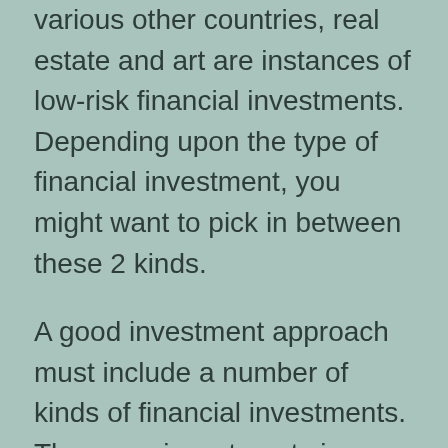various other countries, real estate and art are instances of low-risk financial investments. Depending upon the type of financial investment, you might want to pick in between these 2 kinds.
A good investment approach must include a number of kinds of financial investments. There are investments in stocks, bonds, as well as various other safety and securities. The majority of them are taxed. You should look for a specialist's advice before spending. You must take into consideration the risks involved and also your level of experience prior to